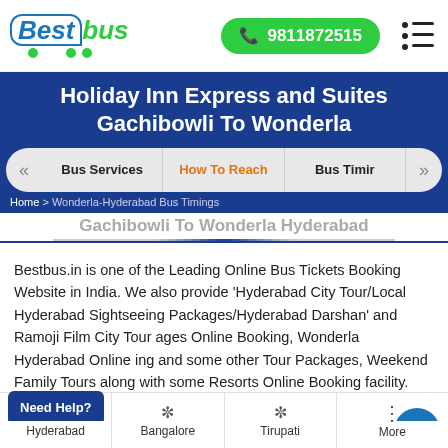BestBus | 9811872515
Holiday Inn Express and Suites Gachibowli To Wonderla
Bus Services | How To Reach | Bus Timir
Home > Wonderla-Hyderabad Bus Timings
Gachibowli To Wonderla Hyderabad
Bestbus.in is one of the Leading Online Bus Tickets Booking Website in India. We also provide 'Hyderabad City Tour/Local Hyderabad Sightseeing Packages/Hyderabad Darshan' and Ramoji Film City Tour ages Online Booking, Wonderla Hyderabad Online ing and some other Tour Packages, Weekend Family Tours along with some Resorts Online Booking facility.
Hyderabad | Bangalore | Tirupati | More